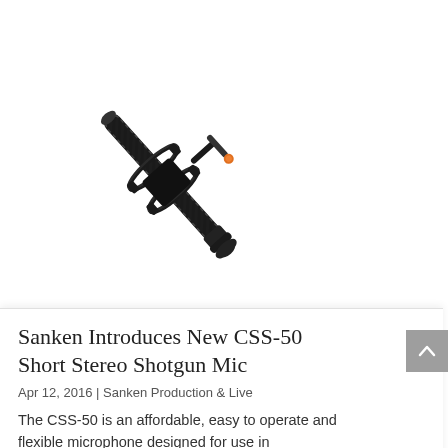[Figure (photo): A Sanken CSS-50 short stereo shotgun microphone mounted on a shock mount/mic clip with an orange accent knob, photographed on a white background, angled diagonally.]
Sanken Introduces New CSS-50 Short Stereo Shotgun Mic
Apr 12, 2016 | Sanken Production & Live
The CSS-50 is an affordable, easy to operate and flexible microphone designed for use in broadcasting and feature films requiring stereo and